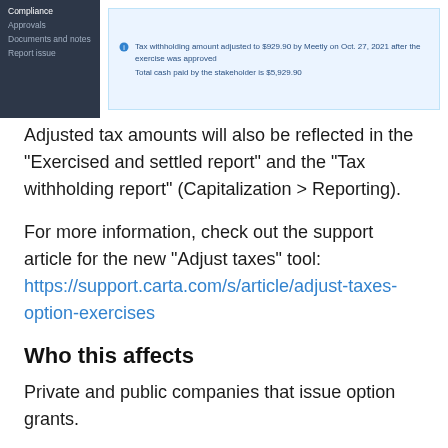[Figure (screenshot): Screenshot showing a dark sidebar with menu items (Compliance, Approvals, Documents and notes, Report issue) and a blue notification box stating 'Tax withholding amount adjusted to $929.90 by Meetly on Oct. 27, 2021 after the exercise was approved' and 'Total cash paid by the stakeholder is $5,929.90']
Adjusted tax amounts will also be reflected in the "Exercised and settled report" and the "Tax withholding report" (Capitalization > Reporting).
For more information, check out the support article for the new "Adjust taxes" tool: https://support.carta.com/s/article/adjust-taxes-option-exercises
Who this affects
Private and public companies that issue option grants.
Timing